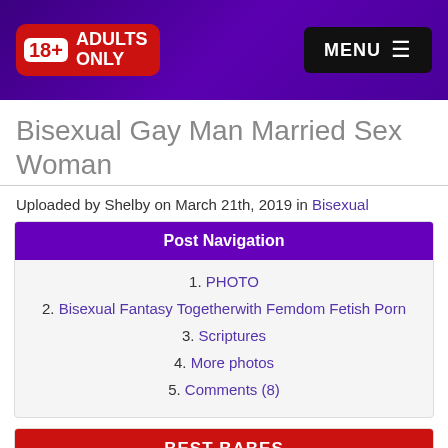18+ ADULTS ONLY | MENU
Bisexual Gay Man Married Sex Woman
Uploaded by Shelby on March 21th, 2019 in Bisexual
Post Navigation
1. PHOTO
2. Bisexual Fantasy Togetherwith Femdom Fetish Porn
3. Scriptures
4. More photos
5. Comments (8)
BEST BABES
1. Avril
2. Catarina